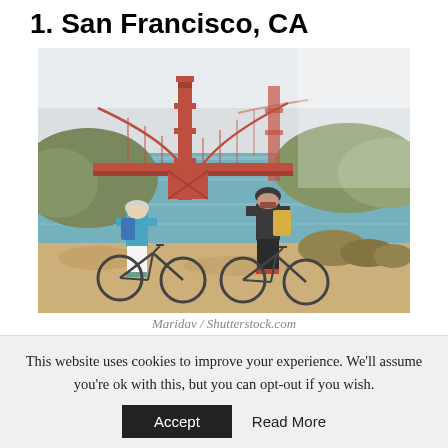1. San Francisco, CA
[Figure (photo): Two cyclists with bikes and backpacks standing at a viewpoint overlooking the Golden Gate Bridge in San Francisco, CA. Foggy sky, turquoise bay water, green hills visible.]
Maridav / Shutterstock.com
Overall Score: 72.13
This website uses cookies to improve your experience. We'll assume you're ok with this, but you can opt-out if you wish.